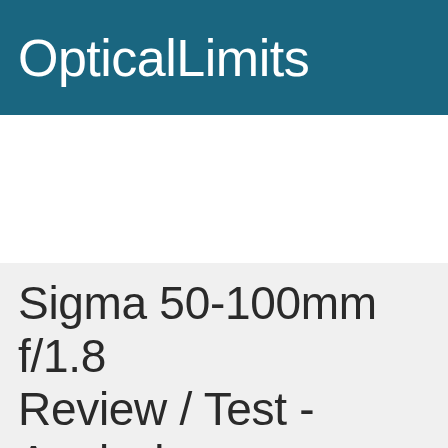OpticalLimits
Sigma 50-100mm f/1.8 Review / Test - Analysis
Lens Reviews - Canon EOS (A